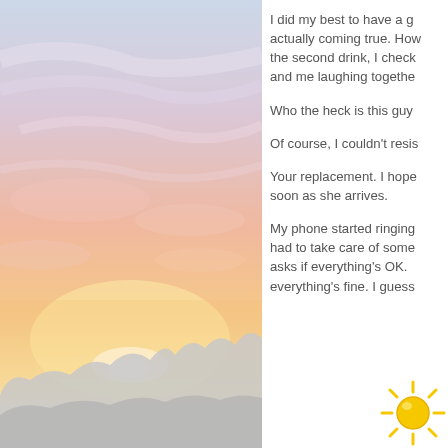[Figure (photo): Sunset or sunrise landscape with soft pink, orange, and light blue sky with clouds, and dark mountain silhouette at the bottom.]
I did my best to have a g actually coming true. How the second drink, I check and me laughing together

Who the heck is this guy

Of course, I couldn't resis

Your replacement. I hope soon as she arrives.

My phone started ringing had to take care of some asks if everything's OK. everything's fine. I guess
[Figure (illustration): Sun emoji (yellow sun with rays) in the bottom right corner.]